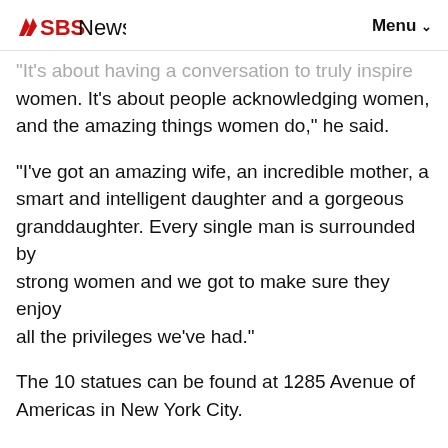SBS News  Menu
“It’s about having a conversation to truly inspire women. It’s about people acknowledging women, and the amazing things women do,” he said.
“I’ve got an amazing wife, an incredible mother, a smart and intelligent daughter and a gorgeous granddaughter. Every single man is surrounded by strong women and we got to make sure they enjoy all the privileges we’ve had.”
The 10 statues can be found at 1285 Avenue of Americas in New York City.